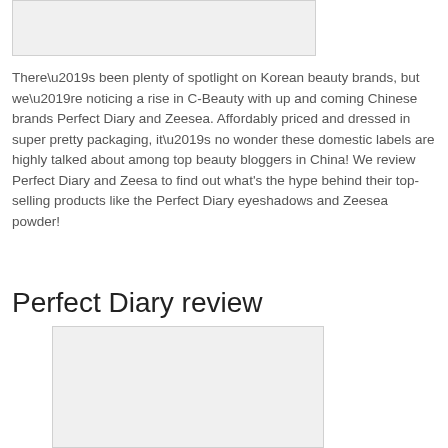[Figure (photo): Partial image visible at top of page, cropped]
There’s been plenty of spotlight on Korean beauty brands, but we’re noticing a rise in C-Beauty with up and coming Chinese brands Perfect Diary and Zeesea. Affordably priced and dressed in super pretty packaging, it’s no wonder these domestic labels are highly talked about among top beauty bloggers in China! We review Perfect Diary and Zeesa to find out what's the hype behind their top-selling products like the Perfect Diary eyeshadows and Zeesea powder!
Perfect Diary review
[Figure (photo): Image related to Perfect Diary review, partially visible at bottom of page]